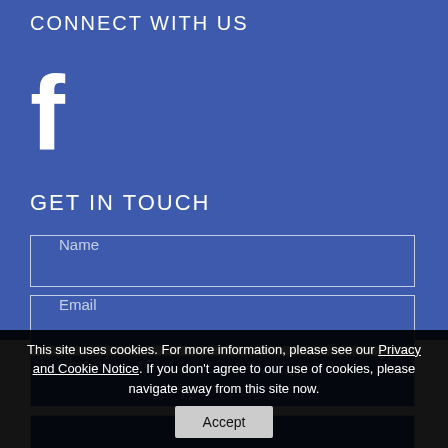CONNECT WITH US
[Figure (logo): Facebook logo icon (white 'f' on blue background)]
GET IN TOUCH
Name (input field placeholder)
Email (input field placeholder)
Phone (input field placeholder)
This site uses cookies. For more information, please see our Privacy and Cookie Notice. If you don't agree to our use of cookies, please navigate away from this site now.
Accept